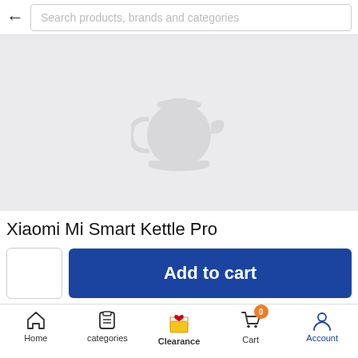Search products, brands and categories
[Figure (photo): Product image area showing a faint kettle silhouette on light gray background — Xiaomi Mi Smart Kettle Pro]
Xiaomi Mi Smart Kettle Pro
Add to cart
Home  categories  Clearance  Cart  Account